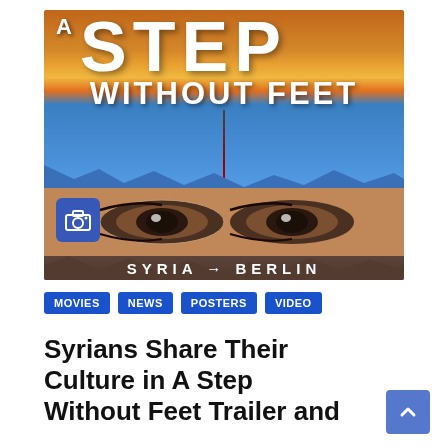[Figure (photo): Movie poster for 'A Step Without Feet' showing large bold white text over a sky background, with a close-up of a person's eyes peeking through a torn paper effect, and 'SYRIA to BERLIN' text at the bottom. A camera icon appears in the lower left corner.]
MOVIES
NEWS
POSTERS
VIDEO
Syrians Share Their Culture in A Step Without Feet Trailer and